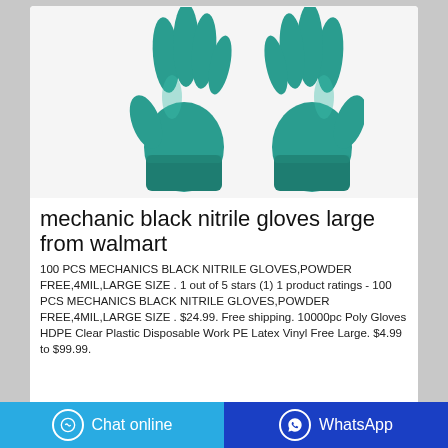[Figure (photo): Two teal/green nitrile rubber gloves displayed side by side against a white background]
mechanic black nitrile gloves large from walmart
100 PCS MECHANICS BLACK NITRILE GLOVES,POWDER FREE,4MIL,LARGE SIZE . 1 out of 5 stars (1) 1 product ratings - 100 PCS MECHANICS BLACK NITRILE GLOVES,POWDER FREE,4MIL,LARGE SIZE . $24.99. Free shipping. 10000pc Poly Gloves HDPE Clear Plastic Disposable Work PE Latex Vinyl Free Large. $4.99 to $99.99.
Chat online | WhatsApp